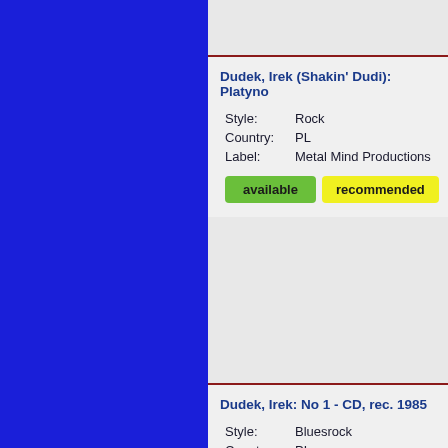Dudek, Irek (Shakin' Dudi): Platyno...
Style: Rock
Country: PL
Label: Metal Mind Productions
available   recommended
Dudek, Irek: No 1 - CD, rec. 1985
Style: Bluesrock
Country: PL
Label: Metal Mind Productions
available   recommended